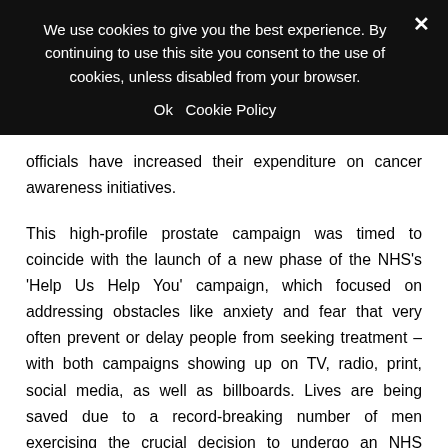We use cookies to give you the best experience. By continuing to use this site you consent to the use of cookies, unless disabled from your browser.
Ok   Cookie Policy
officials have increased their expenditure on cancer awareness initiatives.
This high-profile prostate campaign was timed to coincide with the launch of a new phase of the NHS's 'Help Us Help You' campaign, which focused on addressing obstacles like anxiety and fear that very often prevent or delay people from seeking treatment – with both campaigns showing up on TV, radio, print, social media, as well as billboards. Lives are being saved due to a record-breaking number of men exercising the crucial decision to undergo an NHS cancer check, Pritchard said.